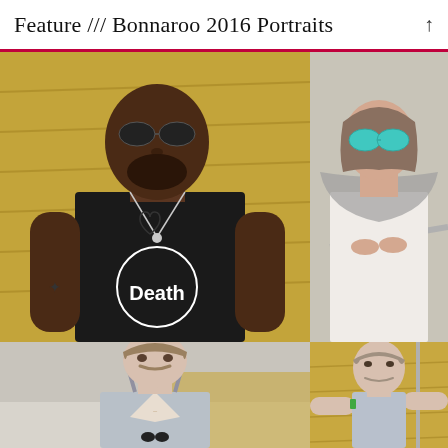Feature /// Bonnaroo 2016 Portraits
[Figure (photo): Four portrait photographs from Bonnaroo 2016 festival arranged in a 2x2 grid. Top-left: a Black man with sunglasses wearing a 'Death' Disney-parody tank top standing in front of hay bales. Top-right: a woman with teal sunglasses wearing a grey scarf and white top holding a metal railing. Bottom-left: a young white man with a mustache wearing a deep V-neck grey overalls. Bottom-right: a young white man in a grey t-shirt with arms outstretched leaning against hay bales.]